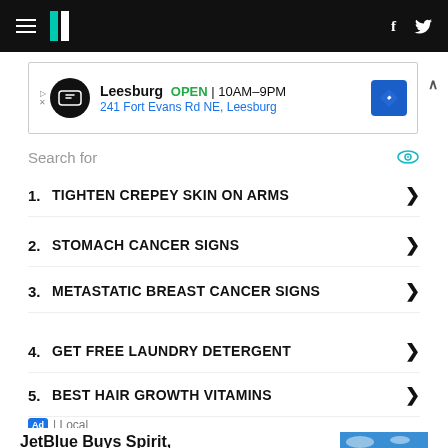HuffPost navigation bar with logo, hamburger menu, Facebook and Twitter icons
[Figure (other): Advertisement banner: Leesburg OPEN 10AM-9PM, 241 Fort Evans Rd NE, Leesburg with location icon]
Search for
1. TIGHTEN CREPEY SKIN ON ARMS
2. STOMACH CANCER SIGNS
3. METASTATIC BREAST CANCER SIGNS
4. GET FREE LAUNDRY DETERGENT
5. BEST HAIR GROWTH VITAMINS
Ad | Local
JetBlue Buys Spirit, Creating Nation's Fifth